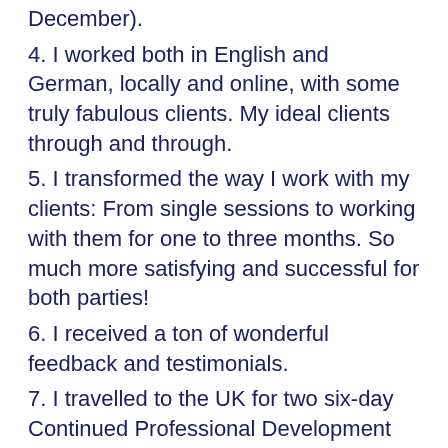December).
4. I worked both in English and German, locally and online, with some truly fabulous clients. My ideal clients through and through.
5. I transformed the way I work with my clients: From single sessions to working with them for one to three months. So much more satisfying and successful for both parties!
6. I received a ton of wonderful feedback and testimonials.
7. I travelled to the UK for two six-day Continued Professional Development (CPD) courses and did one online, all three on hypnotherapy.
8. I organised a female online business buddy weekend get-together here in Kassel in June. We'd only ever met online before and we got